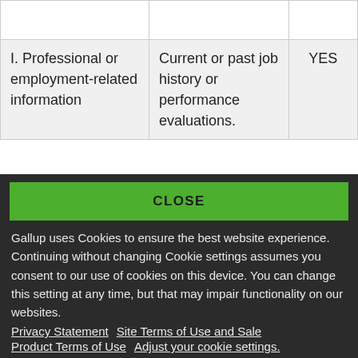|  |  |  |
| I. Professional or employment-related information | Current or past job history or performance evaluations. | YES |
CLOSE
Gallup uses Cookies to ensure the best website experience. Continuing without changing Cookie settings assumes you consent to our use of cookies on this device. You can change this setting at any time, but that may impair functionality on our websites.
Privacy Statement   Site Terms of Use and Sale
Product Terms of Use   Adjust your cookie settings.